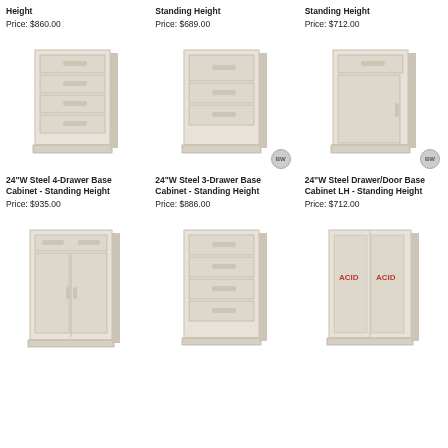Height
Price: $860.00
Standing Height
Price: $689.00
Standing Height
Price: $712.00
[Figure (photo): 24"W Steel 4-Drawer Base Cabinet - Standing Height, cream/beige steel cabinet with 4 drawers]
[Figure (photo): 24"W Steel 3-Drawer Base Cabinet - Standing Height, cream/beige steel cabinet with 3 drawers, BW badge]
[Figure (photo): 24"W Steel Drawer/Door Base Cabinet LH - Standing Height, cream/beige steel cabinet with 1 drawer and 1 door, BW badge]
24"W Steel 4-Drawer Base Cabinet - Standing Height
Price: $935.00
24"W Steel 3-Drawer Base Cabinet - Standing Height
Price: $886.00
24"W Steel Drawer/Door Base Cabinet LH - Standing Height
Price: $712.00
[Figure (photo): Steel base cabinet with 1 drawer on top and 2 doors below, cream/beige]
[Figure (photo): Steel base cabinet with 4 drawers, cream/beige]
[Figure (photo): Steel acid storage base cabinet with 2 doors labeled ACID, cream/beige]